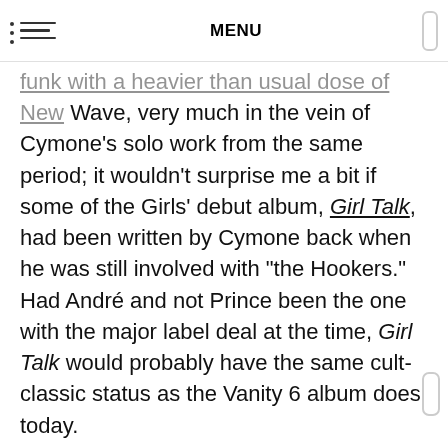MENU
funk with a heavier than usual dose of New Wave, very much in the vein of Cymone’s solo work from the same period; it wouldn’t surprise me a bit if some of the Girls’ debut album, Girl Talk, had been written by Cymone back when he was still involved with “the Hookers.” Had André and not Prince been the one with the major label deal at the time, Girl Talk would probably have the same cult-classic status as the Vanity 6 album does today.
But Prince was the one with the deal, and he also–sorry, André–had the edge in crafting memorable hooks. So, while